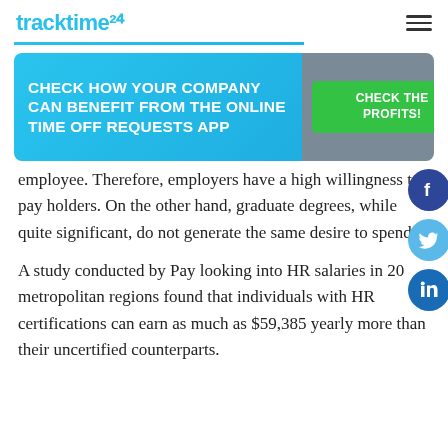tracktime24
[Figure (infographic): Banner ad: CHECK HOW YOUR COMPANY CAN BENEFIT FROM THE ONLINE TIME OFF REQUESTS APP with a green CHECK THE PROFITS! button on grey background]
employee. Therefore, employers have a high willingness to pay holders. On the other hand, graduate degrees, while quite significant, do not generate the same desire to spend.
A study conducted by Pay looking into HR salaries in 20 metropolitan regions found that individuals with HR certifications can earn as much as $59,385 yearly more than their uncertified counterparts.